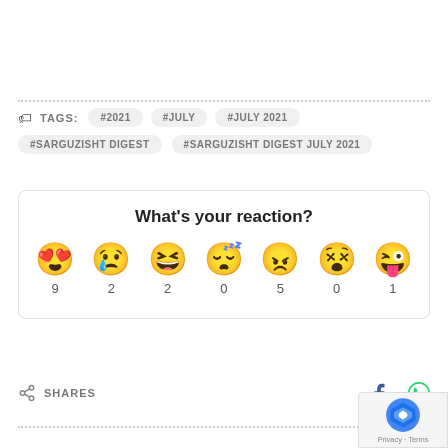TAGS: #2021 #JULY #JULY 2021 #SARGUZISHT DIGEST #SARGUZISHT DIGEST JULY 2021
[Figure (infographic): What's your reaction? section with 7 emoji reactions and counts: love(9), sad(2), haha(2), sleepy(0), angry(5), confused(0), silly(1)]
SHARES